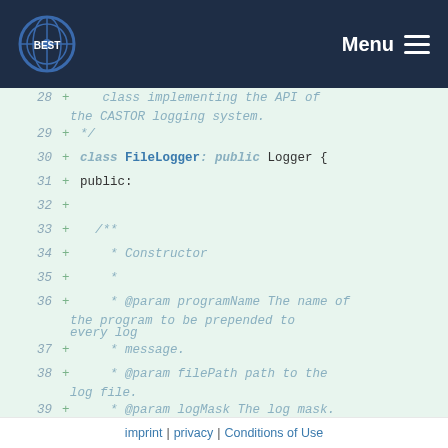BEST | Menu
[Figure (screenshot): Code diff view showing C++ class FileLogger definition, lines 28-41, with line numbers and + indicators on green background]
imprint | privacy | Conditions of Use